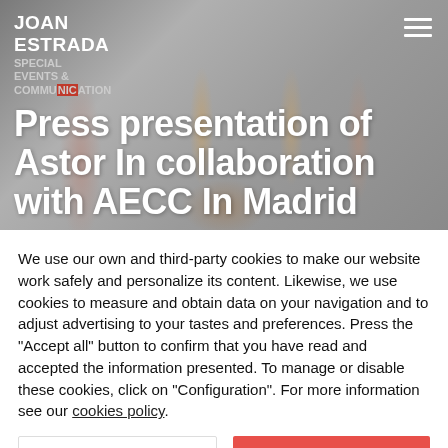[Figure (photo): Background photo of lipsticks with blurred bokeh effect, partially showing gold and rose-toned lipstick tubes]
JOAN ESTRADA SPECIAL EVENTS & COMMUNICATION
Press presentation of Astor In collaboration with AECC In Madrid
We use our own and third-party cookies to make our website work safely and personalize its content. Likewise, we use cookies to measure and obtain data on your navigation and to adjust advertising to your tastes and preferences. Press the "Accept all" button to confirm that you have read and accepted the information presented. To manage or disable these cookies, click on "Configuration". For more information see our cookies policy.
Configuration
Accept all